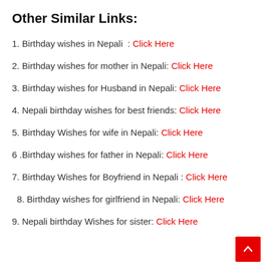Other Similar Links:
1. Birthday wishes in Nepali : Click Here
2. Birthday wishes for mother in Nepali: Click Here
3. Birthday wishes for Husband in Nepali: Click Here
4. Nepali birthday wishes for best friends: Click Here
5. Birthday Wishes for wife in Nepali: Click Here
6 .Birthday wishes for father in Nepali: Click Here
7. Birthday Wishes for Boyfriend in Nepali : Click Here
8. Birthday wishes for girlfriend in Nepali: Click Here
9. Nepali birthday Wishes for sister: Click Here